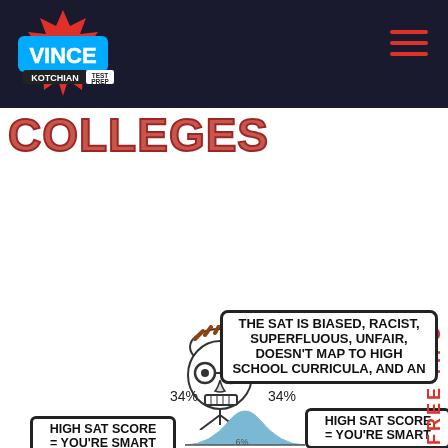[Figure (screenshot): Vince Kotchian Test Prep logo on dark header bar with hamburger menu icon]
COLLEGES
[Figure (infographic): Meme-style infographic about SAT scores. A rage-comic face figure says 'THE SAT IS BIASED, RACIST, SUPERFLUOUS, UNFAIR, DOESN'T MAP TO HIGH SCHOOL CURRICULA, AND AN...' A bell curve with 34% on each side. Two labels: 'HIGH SAT SCORE = YOU'RE SMART' on left and right sides.]
FREE TIPS
34%
34%
THE SAT IS BIASED, RACIST, SUPERFLUOUS, UNFAIR, DOESN'T MAP TO HIGH SCHOOL CURRICULA, AND AN
HIGH SAT SCORE = YOU'RE SMART
HIGH SAT SCORE = YOU'RE SMART